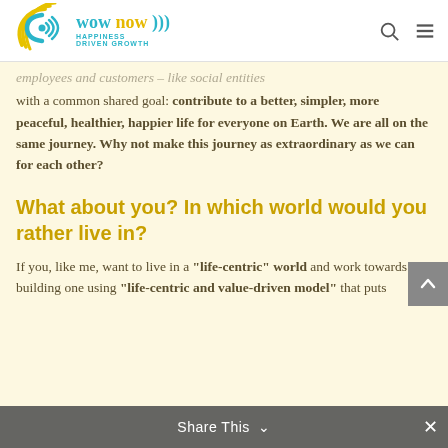wow now HAPPINESS DRIVEN GROWTH
employees and customers – like social entities with a common shared goal: contribute to a better, simpler, more peaceful, healthier, happier life for everyone on Earth. We are all on the same journey. Why not make this journey as extraordinary as we can for each other?
What about you? In which world would you rather live in?
If you, like me, want to live in a "life-centric" world and work towards building one using "life-centric and value-driven model" that puts